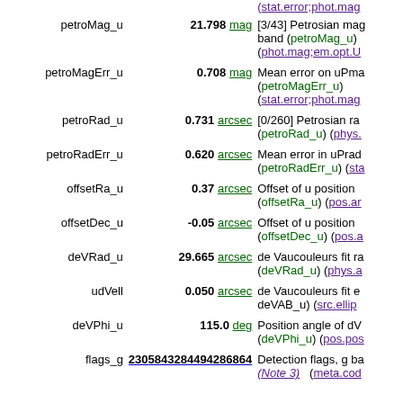| Field | Value | Description |
| --- | --- | --- |
| petroMag_u | 21.798 mag | [3/43] Petrosian mag in u band (petroMag_u) (phot.mag;em.opt.U) |
| petroMagErr_u | 0.708 mag | Mean error on uPmag (petroMagErr_u) (stat.error;phot.mag) |
| petroRad_u | 0.731 arcsec | [0/260] Petrosian radius (petroRad_u) (phys....) |
| petroRadErr_u | 0.620 arcsec | Mean error in uPradius (petroRadErr_u) (sta...) |
| offsetRa_u | 0.37 arcsec | Offset of u position (offsetRa_u) (pos.ar...) |
| offsetDec_u | -0.05 arcsec | Offset of u position (offsetDec_u) (pos.a...) |
| deVRad_u | 29.665 arcsec | de Vaucouleurs fit ra (deVRad_u) (phys.a...) |
| udVell | 0.050 arcsec | de Vaucouleurs fit e deVAB_u) (src.ellip...) |
| deVPhi_u | 115.0 deg | Position angle of dV (deVPhi_u) (pos.pos...) |
| flags_g | 2305843284494286864 | Detection flags, g ba (Note 3) (meta.cod...) |